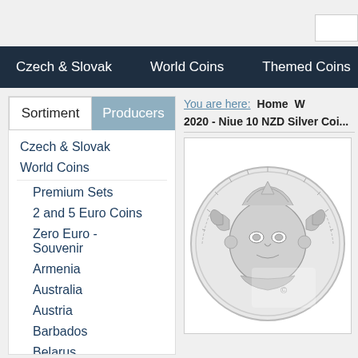Czech & Slovak   World Coins   Themed Coins
Sortiment   Producers
Czech & Slovak
World Coins
Premium Sets
2 and 5 Euro Coins
Zero Euro - Souvenir
Armenia
Australia
Austria
Barbados
Belarus
Belgium
You are here:   Home   W
2020 - Niue 10 NZD Silver Coi…
[Figure (photo): Silver coin with detailed relief design showing a stylized face or deity motif, rendered in grayscale line art style]